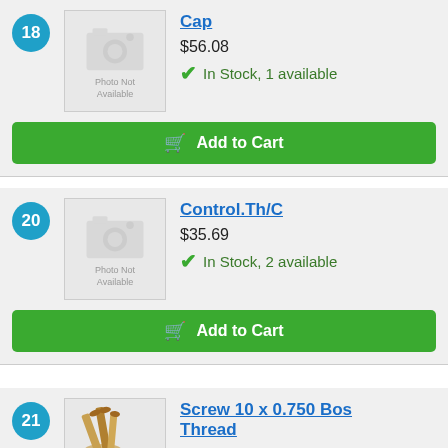18
[Figure (photo): Photo Not Available placeholder image for item 18 (Cap)]
Cap
$56.08
In Stock, 1 available
Add to Cart
20
[Figure (photo): Photo Not Available placeholder image for item 20 (Control.Th/C)]
Control.Th/C
$35.69
In Stock, 2 available
Add to Cart
21
[Figure (photo): Photo of screws for item 21 (Screw 10 x 0.750 Bos Thread)]
Screw 10 x 0.750 Bos Thread